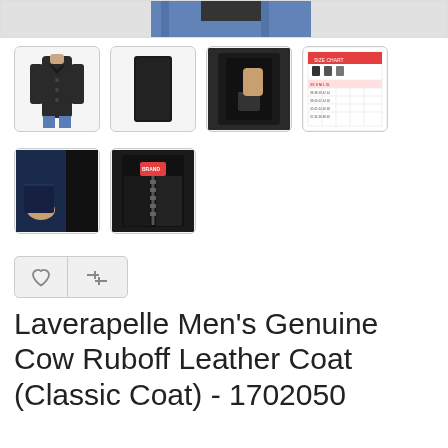[Figure (photo): Top partial banner showing man wearing dark leather coat, cropped view]
[Figure (photo): Thumbnail 1: Front view of dark leather jacket on person]
[Figure (photo): Thumbnail 2: Flat lay of dark leather coat/panel]
[Figure (photo): Thumbnail 3: Inside/lining detail of leather coat]
[Figure (photo): Thumbnail 4: Size chart table image]
[Figure (photo): Thumbnail 5: Detail close-up of leather coat pocket area]
[Figure (photo): Thumbnail 6: Zipper/closure detail of leather coat with red label]
Laverapelle Men's Genuine Cow Ruboff Leather Coat (Classic Coat) - 1702050